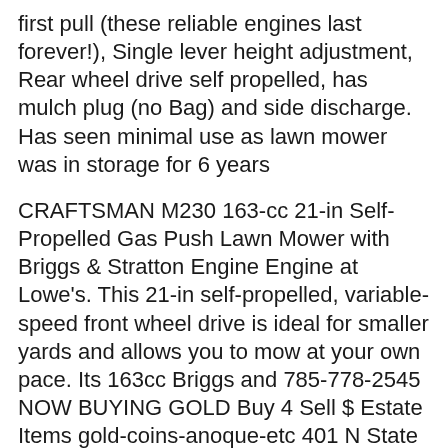first pull (these reliable engines last forever!), Single lever height adjustment, Rear wheel drive self propelled, has mulch plug (no Bag) and side discharge. Has seen minimal use as lawn mower was in storage for 6 years
CRAFTSMAN M230 163-cc 21-in Self-Propelled Gas Push Lawn Mower with Briggs & Stratton Engine Engine at Lowe's. This 21-in self-propelled, variable-speed front wheel drive is ideal for smaller yards and allows you to mow at your own pace. Its 163cc Briggs and 785-778-2545 NOW BUYING GOLD Buy 4 Sell $ Estate Items gold-coins-anoque-etc 401 N State St. 462-699 Lawn & Garden MOWER: Craftsman